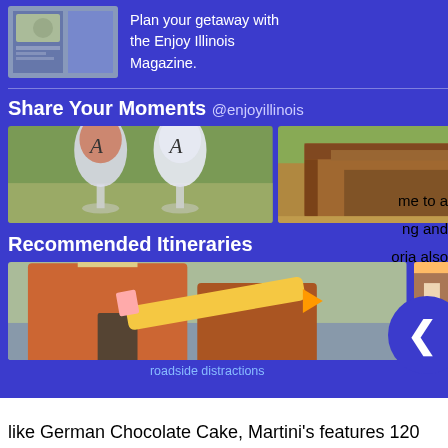Plan your getaway with the Enjoy Illinois Magazine.
Share Your Moments @enjoyillinois
[Figure (photo): Three photos side by side: wine glasses on a golf course, a covered wooden bridge, and children at a festival with candy cane decorations]
Recommended Itineraries
[Figure (photo): Two itinerary photos: roadside distractions (storefront with giant pencil), and a romantic galena getaway (street view of Galena)]
roadside distractions
a romantic galena getaway
like German Chocolate Cake, Martini's features 120